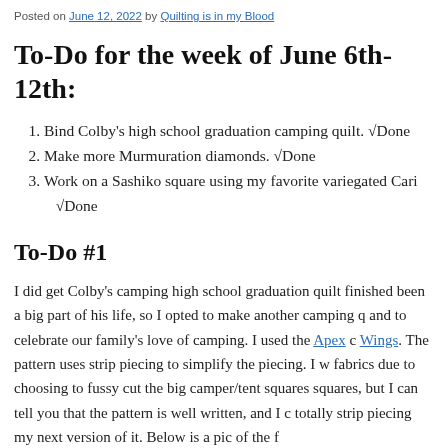Posted on June 12, 2022 by Quilting is in my Blood
To-Do for the week of June 6th-12th:
Bind Colby's high school graduation camping quilt. √Done
Make more Murmuration diamonds. √Done
Work on a Sashiko square using my favorite variegated Cari… √Done
To-Do #1
I did get Colby's camping high school graduation quilt finished… been a big part of his life, so I opted to make another camping q… and to celebrate our family's love of camping. I used the Apex c… Wings. The pattern uses strip piecing to simplify the piecing. I w… fabrics due to choosing to fussy cut the big camper/tent squares… squares, but I can tell you that the pattern is well written, and I c… totally strip piecing my next version of it. Below is a pic of the f…